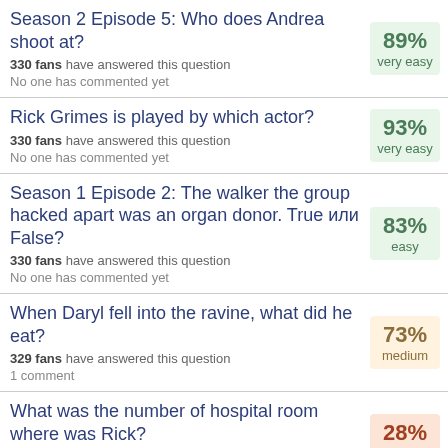Season 2 Episode 5: Who does Andrea shoot at? 330 fans have answered this question. No one has commented yet. 89% very easy
Rick Grimes is played by which actor? 330 fans have answered this question. No one has commented yet. 93% very easy
Season 1 Episode 2: The walker the group hacked apart was an organ donor. True или False? 330 fans have answered this question. No one has commented yet. 83% easy
When Daryl fell into the ravine, what did he eat? 329 fans have answered this question. 1 comment. 73% medium
What was the number of hospital room where was Rick? 329 fans have answered this question. No one has commented yet. 28% hard
Who сказал(-а) this: "You know, the only reason I got away was because the dead were too busy eating my family" 72% medium